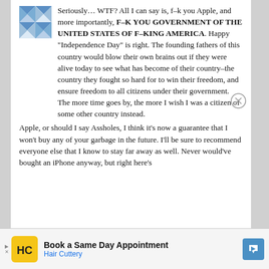[Figure (logo): Blue and white quilt-pattern avatar logo]
Seriously… WTF? All I can say is, f–k you Apple, and more importantly, F–K YOU GOVERNMENT OF THE UNITED STATES OF F–KING AMERICA. Happy "Independence Day" is right. The founding fathers of this country would blow their own brains out if they were alive today to see what has become of their country–the country they fought so hard for to win their freedom, and ensure freedom to all citizens under their government. The more time goes by, the more I wish I was a citizen of some other country instead.

Apple, or should I say Assholes, I think it's now a guarantee that I won't buy any of your garbage in the future. I'll be sure to recommend everyone else that I know to stay far away as well. Never would've bought an iPhone anyway, but right here's
[Figure (infographic): Advertisement banner: Book a Same Day Appointment - Hair Cuttery, with HC logo and navigation arrow]